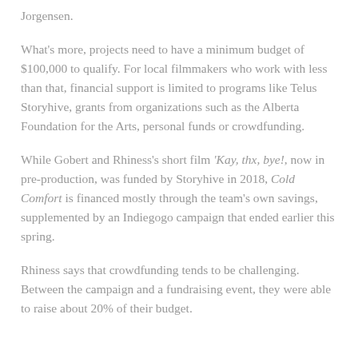Jorgensen.
What's more, projects need to have a minimum budget of $100,000 to qualify. For local filmmakers who work with less than that, financial support is limited to programs like Telus Storyhive, grants from organizations such as the Alberta Foundation for the Arts, personal funds or crowdfunding.
While Gobert and Rhiness's short film 'Kay, thx, bye!, now in pre-production, was funded by Storyhive in 2018, Cold Comfort is financed mostly through the team's own savings, supplemented by an Indiegogo campaign that ended earlier this spring.
Rhiness says that crowdfunding tends to be challenging. Between the campaign and a fundraising event, they were able to raise about 20% of their budget.